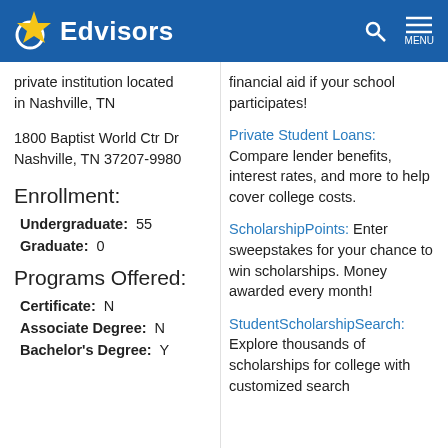Edvisors
private institution located in Nashville, TN
1800 Baptist World Ctr Dr Nashville, TN 37207-9980
Enrollment:
Undergraduate: 55
Graduate: 0
Programs Offered:
Certificate: N
Associate Degree: N
Bachelor's Degree: Y
financial aid if your school participates!
Private Student Loans: Compare lender benefits, interest rates, and more to help cover college costs.
ScholarshipPoints: Enter sweepstakes for your chance to win scholarships. Money awarded every month!
StudentScholarshipSearch: Explore thousands of scholarships for college with customized search